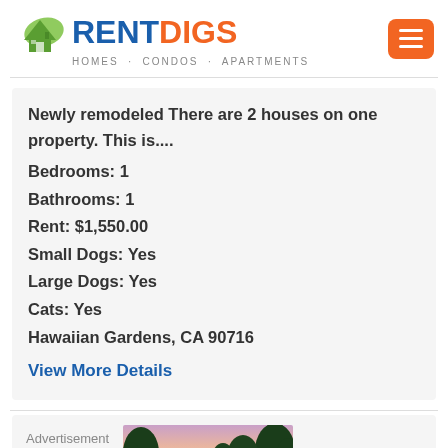[Figure (logo): RentDigs logo with house icon and tagline HOMES · CONDOS · APARTMENTS]
Newly remodeled There are 2 houses on one property. This is....
Bedrooms: 1
Bathrooms: 1
Rent: $1,550.00
Small Dogs: Yes
Large Dogs: Yes
Cats: Yes
Hawaiian Gardens, CA 90716
View More Details
Advertisement
[Figure (photo): Advertisement image showing trees against a pink/purple sunset sky with a reflection below]